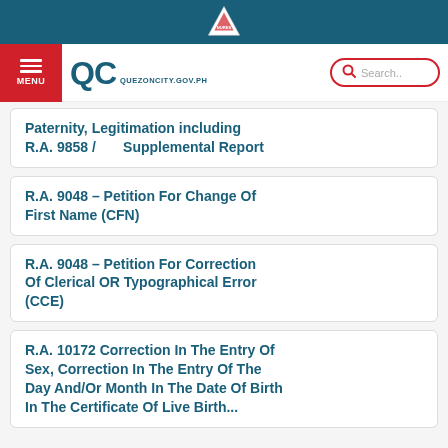QUEZONCITY.GOV.PH
Paternity, Legitimation including R.A. 9858 / Supplemental Report
R.A. 9048 – Petition For Change Of First Name (CFN)
R.A. 9048 – Petition For Correction Of Clerical OR Typographical Error (CCE)
R.A. 10172 Correction In The Entry Of Sex, Correction In The Entry Of The Day And/Or Month In The Date Of Birth In The Certificate Of Live Birth...